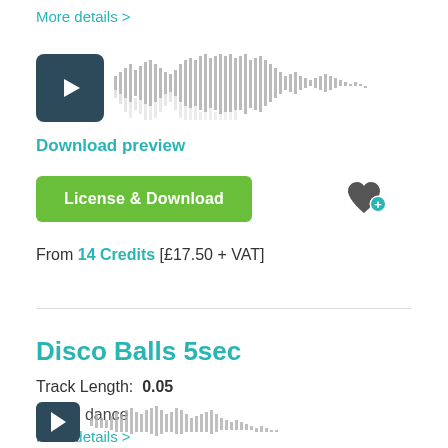More details >
[Figure (other): Audio player with play button and waveform visualization for a music track preview]
Download preview
License & Download
From 14 Credits [£17.50 + VAT]
Disco Balls 5sec
Track Length:  0.05
Disco, dance
More details >
[Figure (other): Audio player with play button and waveform visualization for Disco Balls 5sec track]